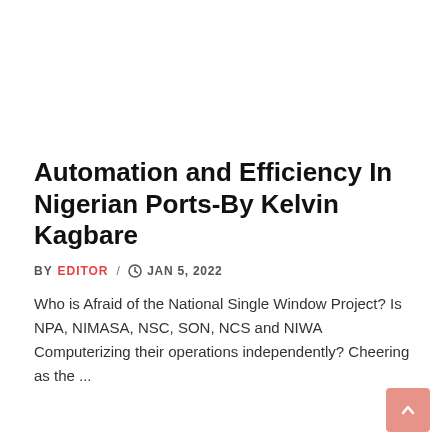Automation and Efficiency In Nigerian Ports-By Kelvin Kagbare
BY EDITOR / JAN 5, 2022
Who is Afraid of the National Single Window Project? Is NPA, NIMASA, NSC, SON, NCS and NIWA Computerizing their operations independently? Cheering as the ...